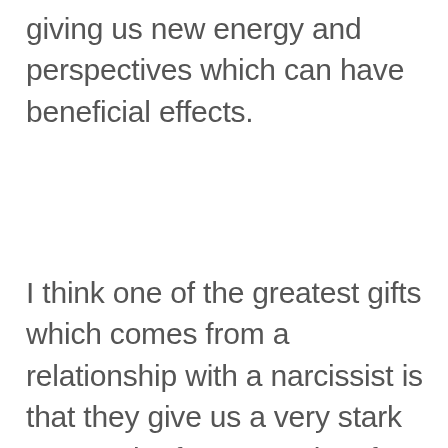giving us new energy and perspectives which can have beneficial effects.
I think one of the greatest gifts which comes from a relationship with a narcissist is that they give us a very stark personal reference point of how not to relate to other people, and they shine a beautiful light for us on the good and respectful relationships which we have. Sometimes we take the good people in our life for granted, we